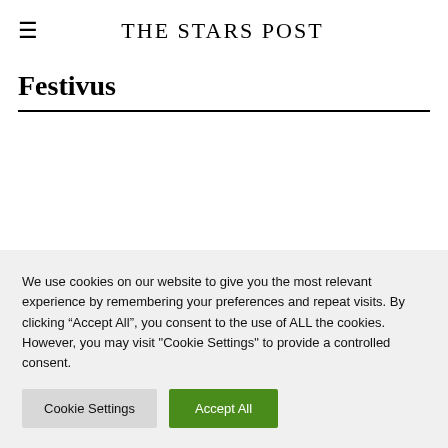THE STARS POST
Festivus
We use cookies on our website to give you the most relevant experience by remembering your preferences and repeat visits. By clicking “Accept All”, you consent to the use of ALL the cookies. However, you may visit "Cookie Settings" to provide a controlled consent.